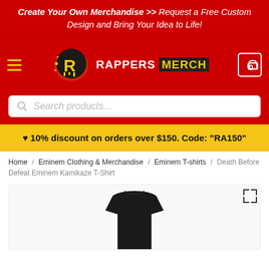Create Your Own Merchandise >> Request a Free Custom Design and Bring Your Idea to Life!
[Figure (logo): Rappers Merch logo with rapper face graphic, yellow and black emblem, and text RAPPERS MERCH]
Search products...
♥ 10% discount on orders over $150. Code: "RA150"
Home / Eminem Clothing & Merchandise / Eminem T-shirts / Death Before Defeat Eminem Kamikaze T-Shirt
[Figure (photo): Black crew-neck t-shirt on white background, partial view showing top portion]